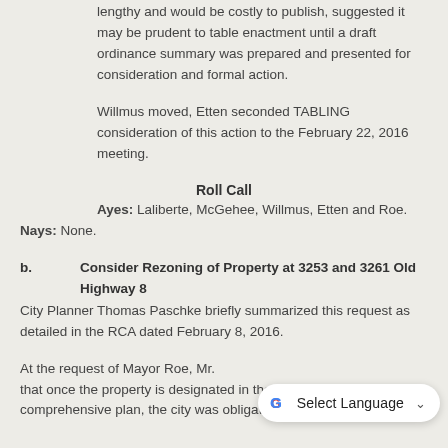lengthy and would be costly to publish, suggested it may be prudent to table enactment until a draft ordinance summary was prepared and presented for consideration and formal action.
Willmus moved, Etten seconded TABLING consideration of this action to the February 22, 2016 meeting.
Roll Call
Ayes: Laliberte, McGehee, Willmus, Etten and Roe.
Nays: None.
b.   Consider Rezoning of Property at 3253 and 3261 Old Highway 8
City Planner Thomas Paschke briefly summarized this request as detailed in the RCA dated February 8, 2016.
At the request of Mayor Roe, Mr. [partially obscured] that once the property is designated in the comprehensive plan, the city was obligated to rezone it